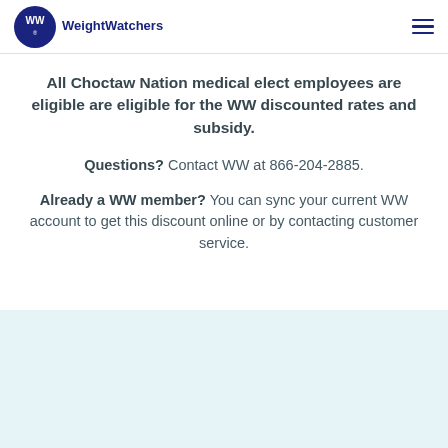WeightWatchers
All Choctaw Nation medical elect employees are eligible are eligible for the WW discounted rates and subsidy.
Questions? Contact WW at 866-204-2885.
Already a WW member? You can sync your current WW account to get this discount online or by contacting customer service.